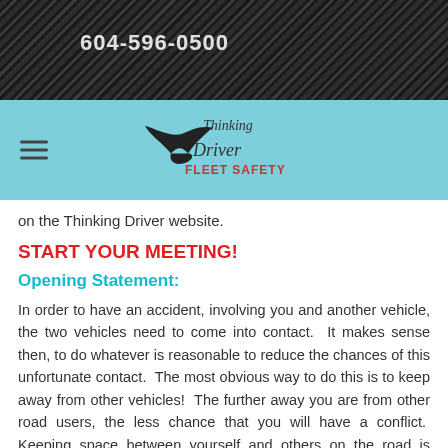604-596-0500
[Figure (logo): Thinking Driver Fleet Safety logo with bird silhouette on teal navigation bar]
on the Thinking Driver website.
START YOUR MEETING!
Opening Statement:
In order to have an accident, involving you and another vehicle, the two vehicles need to come into contact.  It makes sense then, to do whatever is reasonable to reduce the chances of this unfortunate contact.  The most obvious way to do this is to keep away from other vehicles!  The further away you are from other road users, the less chance that you will have a conflict.  Keeping space between yourself and others on the road is called keeping a SPACE CUSHION.